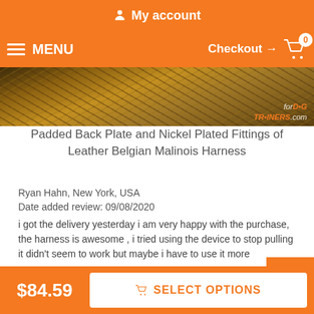My account
MENU  Checkout → 0
[Figure (photo): Partial product image showing leather harness texture with ForDogTrainers.com watermark]
Padded Back Plate and Nickel Plated Fittings of Leather Belgian Malinois Harness
Ryan Hahn, New York, USA
Date added review: 09/08/2020
i got the delivery yesterday i am very happy with the purchase, the harness is awesome , i tried using the device to stop pulling it didn't seem to work but maybe i have to use it more
Rating: [5 of 5 Stars]
$84.59  SELECT OPTIONS